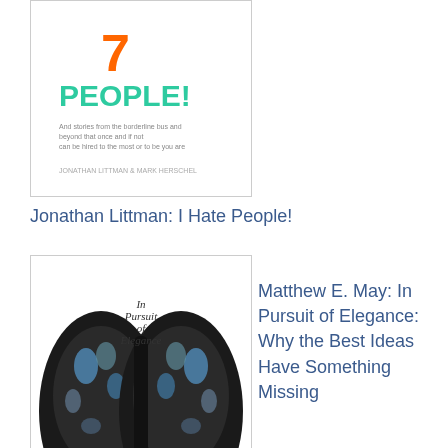[Figure (illustration): Book cover of 'I Hate People!' by Jonathan Littman, white background with orange and teal text]
Jonathan Littman: I Hate People!
[Figure (illustration): Book cover of 'In Pursuit of Elegance' by Matthew E. May, featuring a butterfly wing image]
Matthew E. May: In Pursuit of Elegance: Why the Best Ideas Have Something Missing
[Figure (illustration): Book cover of 'Escape from Cubicle Nation' by Pamela Slim]
Pamela Slim: Escape